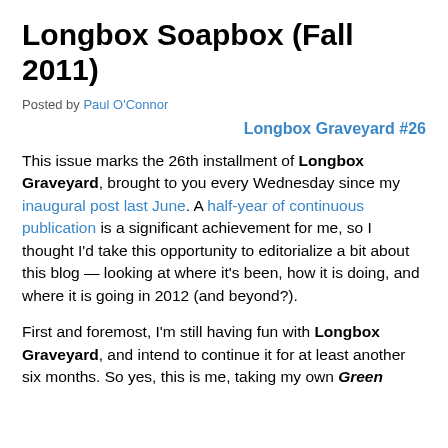Longbox Soapbox (Fall 2011)
Posted by Paul O'Connor
Longbox Graveyard #26
This issue marks the 26th installment of Longbox Graveyard, brought to you every Wednesday since my inaugural post last June. A half-year of continuous publication is a significant achievement for me, so I thought I'd take this opportunity to editorialize a bit about this blog — looking at where it's been, how it is doing, and where it is going in 2012 (and beyond?).
First and foremost, I'm still having fun with Longbox Graveyard, and intend to continue it for at least another six months. So yes, this is me, taking my own Green [...]